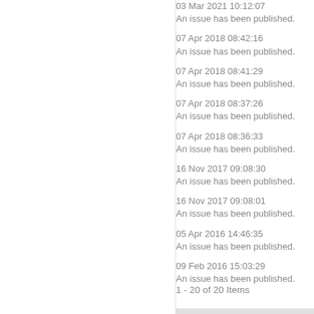03 Mar 2021 10:12:07
An issue has been published.
07 Apr 2018 08:42:16
An issue has been published.
07 Apr 2018 08:41:29
An issue has been published.
07 Apr 2018 08:37:26
An issue has been published.
07 Apr 2018 08:36:33
An issue has been published.
16 Nov 2017 09:08:30
An issue has been published.
16 Nov 2017 09:08:01
An issue has been published.
05 Apr 2016 14:46:35
An issue has been published.
09 Feb 2016 15:03:29
An issue has been published.
1 - 20 of 20 Items